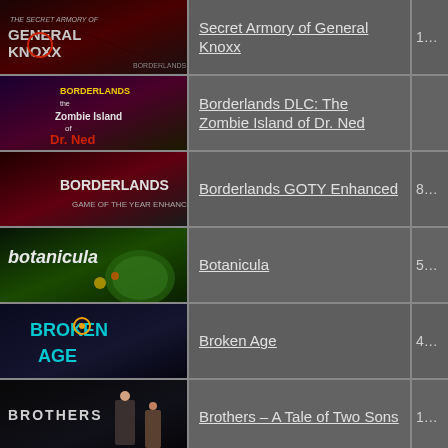| Image | Title | Number |
| --- | --- | --- |
| [img: Secret Armory of General Knoxx] | Secret Armory of General Knoxx | 1… |
| [img: Borderlands DLC: The Zombie Island of Dr. Ned] | Borderlands DLC: The Zombie Island of Dr. Ned | … |
| [img: Borderlands GOTY Enhanced] | Borderlands GOTY Enhanced | 8… |
| [img: Botanicula] | Botanicula | 5… |
| [img: Broken Age] | Broken Age | 4… |
| [img: Brothers - A Tale of Two Sons] | Brothers – A Tale of Two Sons | 1… |